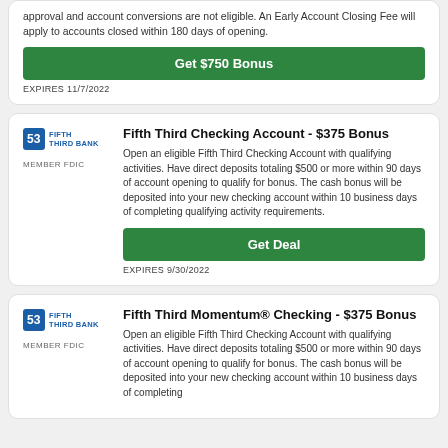approval and account conversions are not eligible. An Early Account Closing Fee will apply to accounts closed within 180 days of opening.
Get $750 Bonus
EXPIRES 11/7/2022
Fifth Third Checking Account - $375 Bonus
Open an eligible Fifth Third Checking Account with qualifying activities. Have direct deposits totaling $500 or more within 90 days of account opening to qualify for bonus. The cash bonus will be deposited into your new checking account within 10 business days of completing qualifying activity requirements.
Get Deal
EXPIRES 9/30/2022
Fifth Third Momentum® Checking - $375 Bonus
Open an eligible Fifth Third Checking Account with qualifying activities. Have direct deposits totaling $500 or more within 90 days of account opening to qualify for bonus. The cash bonus will be deposited into your new checking account within 10 business days of completing